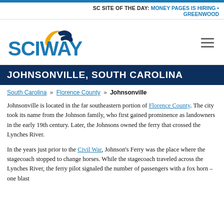SC SITE OF THE DAY: MONEY PAGES IS HIRING • GREENWOOD
[Figure (logo): SCIWAY logo with crescent moon and wave graphic in blue and gold]
JOHNSONVILLE, SOUTH CAROLINA
South Carolina » Florence County » Johnsonville
Johnsonville is located in the far southeastern portion of Florence County. The city took its name from the Johnson family, who first gained prominence as landowners in the early 19th century. Later, the Johnsons owned the ferry that crossed the Lynches River.
In the years just prior to the Civil War, Johnson's Ferry was the place where the stagecoach stopped to change horses. While the stagecoach traveled across the Lynches River, the ferry pilot signaled the number of passengers with a fox horn – one blast